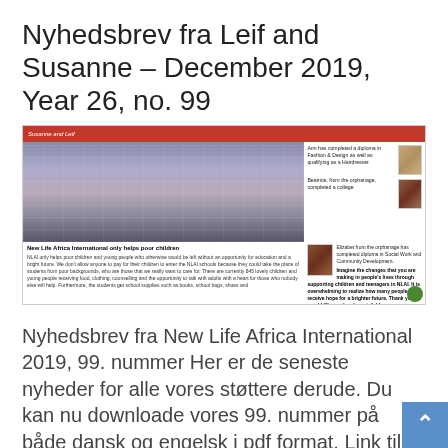Nyhedsbrev fra Leif and Susanne – December 2019, Year 26, no. 99
[Figure (screenshot): Screenshot of New Life Africa International newsletter page showing a school building with students, text columns about NLAI only helping poor children, photos of Ann and Beatrice from the orphanage.]
Nyhedsbrev fra New Life Africa International 2019, 99. nummer Her er de seneste nyheder for alle vores støttere derude. Du kan nu downloade vores 99. nummer på både dansk og engelsk i pdf format. Link til dansk nyhedsbrev: klik her